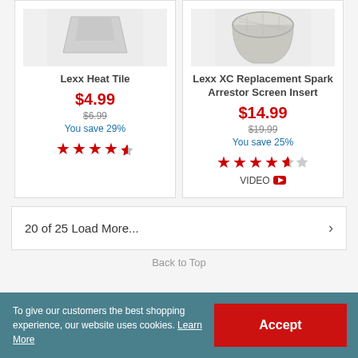[Figure (photo): Lexx Heat Tile product image (partial, top portion visible)]
Lexx Heat Tile
$4.99
$6.99
You save 29%
[Figure (other): 4.5 star rating for Lexx Heat Tile]
[Figure (photo): Lexx XC Replacement Spark Arrestor Screen Insert product image (partial, top portion visible)]
Lexx XC Replacement Spark Arrestor Screen Insert
$14.99
$19.99
You save 25%
[Figure (other): 4.5 star rating for Lexx XC Replacement Spark Arrestor Screen Insert]
VIDEO
20 of 25 Load More...
Back to Top
To give our customers the best shopping experience, our website uses cookies. Learn More
Accept